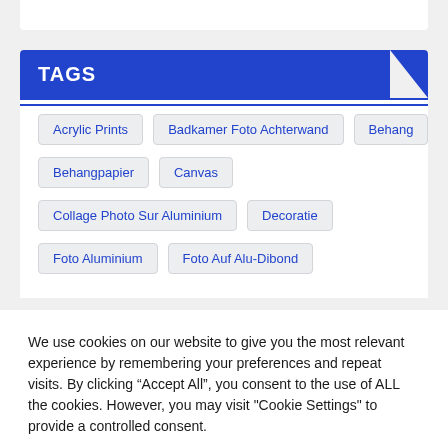TAGS
Acrylic Prints
Badkamer Foto Achterwand
Behang
Behangpapier
Canvas
Collage Photo Sur Aluminium
Decoratie
Foto Aluminium
Foto Auf Alu-Dibond
We use cookies on our website to give you the most relevant experience by remembering your preferences and repeat visits. By clicking “Accept All”, you consent to the use of ALL the cookies. However, you may visit "Cookie Settings" to provide a controlled consent.
Cookie Settings | Accept All